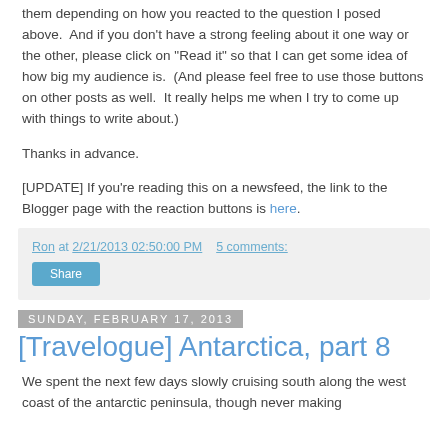them depending on how you reacted to the question I posed above.  And if you don't have a strong feeling about it one way or the other, please click on "Read it" so that I can get some idea of how big my audience is.  (And please feel free to use those buttons on other posts as well.  It really helps me when I try to come up with things to write about.)
Thanks in advance.
[UPDATE] If you're reading this on a newsfeed, the link to the Blogger page with the reaction buttons is here.
Ron at 2/21/2013 02:50:00 PM    5 comments:
Share
Sunday, February 17, 2013
[Travelogue] Antarctica, part 8
We spent the next few days slowly cruising south along the west coast of the antarctic peninsula, though never making